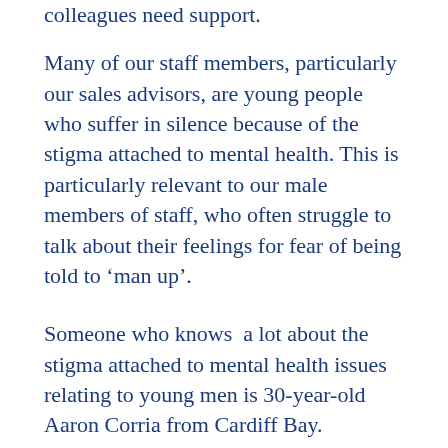colleagues need support.
Many of our staff members, particularly our sales advisors, are young people who suffer in silence because of the stigma attached to mental health. This is particularly relevant to our male members of staff, who often struggle to talk about their feelings for fear of being told to ‘man up’.
Someone who knows a lot about the stigma attached to mental health issues relating to young men is 30-year-old Aaron Corria from Cardiff Bay.
Aaron, who battled depression himself for six years before speaking out, has set up his own website called Brotectors along with the hash tag #WeGotThis to inspire other people to get help.
We caught up with Aaron to congratulate him on his inspirational campaign and get his advice to support